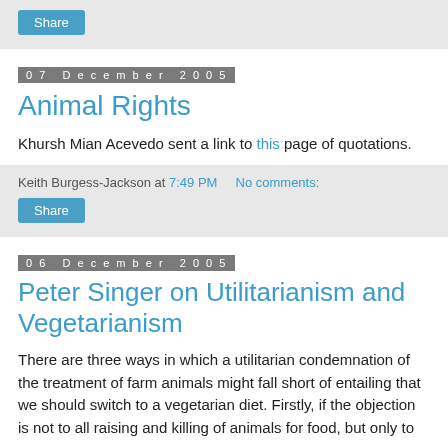Share
07 December 2005
Animal Rights
Khursh Mian Acevedo sent a link to this page of quotations.
Keith Burgess-Jackson at 7:49 PM   No comments:
Share
06 December 2005
Peter Singer on Utilitarianism and Vegetarianism
There are three ways in which a utilitarian condemnation of the treatment of farm animals might fall short of entailing that we should switch to a vegetarian diet. Firstly, if the objection is not to all raising and killing of animals for food, but only to